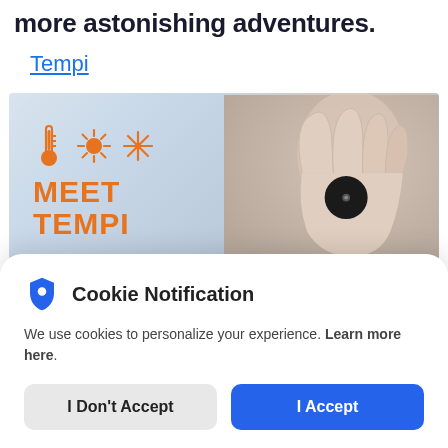more astonishing adventures.
Tempi
[Figure (photo): Product banner showing 'MEET TEMPI' text in orange with thermometer and snowflake icons on left half, and a hand holding a small round black Tempi device on the right half, against a blurred light background.]
Cookie Notification
We use cookies to personalize your experience. Learn more here.
I Don't Accept
I Accept